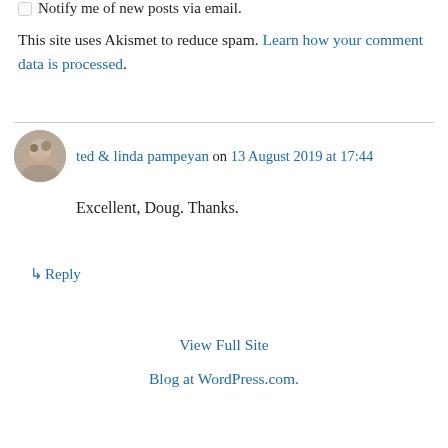☐ Notify me of new posts via email.
This site uses Akismet to reduce spam. Learn how your comment data is processed.
ted & linda pampeyan on 13 August 2019 at 17:44
Excellent, Doug. Thanks.
↳ Reply
View Full Site
Blog at WordPress.com.